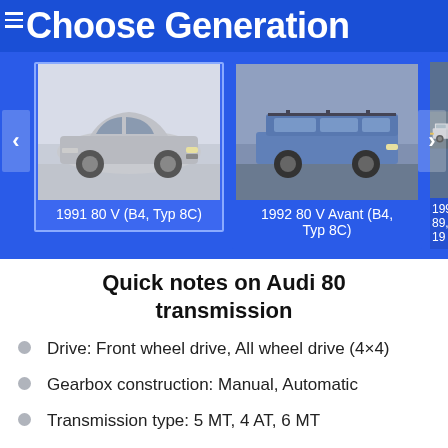Choose Generation
[Figure (photo): Carousel of Audi 80 generation cars. First card (selected): silver sedan '1991 80 V (B4, Typ 8C)'. Second card: blue estate wagon '1992 80 V Avant (B4, Typ 8C)'. Third card (partially visible): '1990 80 89,89Q,8 19']
Quick notes on Audi 80 transmission
Drive:  Front wheel drive, All wheel drive (4x4)
Gearbox construction: Manual, Automatic
Transmission type: 5 MT, 4 AT, 6 MT